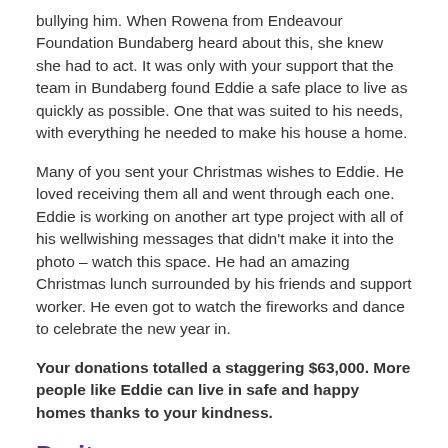bullying him. When Rowena from Endeavour Foundation Bundaberg heard about this, she knew she had to act. It was only with your support that the team in Bundaberg found Eddie a safe place to live as quickly as possible. One that was suited to his needs, with everything he needed to make his house a home.
Many of you sent your Christmas wishes to Eddie. He loved receiving them all and went through each one. Eddie is working on another art type project with all of his wellwishing messages that didn't make it into the photo – watch this space. He had an amazing Christmas lunch surrounded by his friends and support worker. He even got to watch the fireworks and dance to celebrate the new year in.
Your donations totalled a staggering $63,000. More people like Eddie can live in safe and happy homes thanks to your kindness.
Do it your way